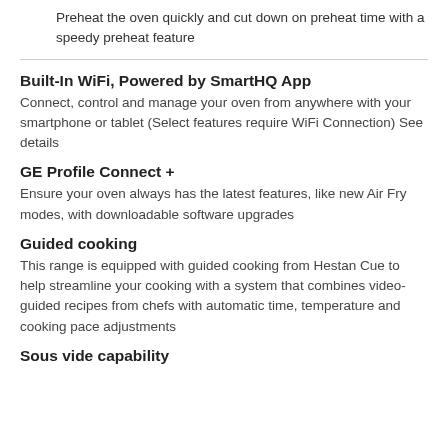Preheat the oven quickly and cut down on preheat time with a speedy preheat feature
Built-In WiFi, Powered by SmartHQ App
Connect, control and manage your oven from anywhere with your smartphone or tablet (Select features require WiFi Connection) See details
GE Profile Connect +
Ensure your oven always has the latest features, like new Air Fry modes, with downloadable software upgrades
Guided cooking
This range is equipped with guided cooking from Hestan Cue to help streamline your cooking with a system that combines video-guided recipes from chefs with automatic time, temperature and cooking pace adjustments
Sous vide capability